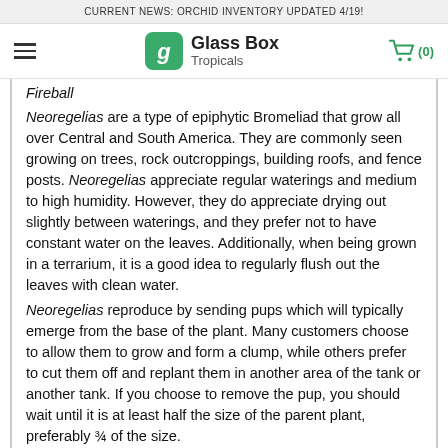CURRENT NEWS: ORCHID INVENTORY UPDATED 4/19!
[Figure (logo): Glass Box Tropicals logo with green rounded square icon and cart icon showing (0)]
Fireball
Neoregelias are a type of epiphytic Bromeliad that grow all over Central and South America. They are commonly seen growing on trees, rock outcroppings, building roofs, and fence posts. Neoregelias appreciate regular waterings and medium to high humidity. However, they do appreciate drying out slightly between waterings, and they prefer not to have constant water on the leaves. Additionally, when being grown in a terrarium, it is a good idea to regularly flush out the leaves with clean water.
Neoregelias reproduce by sending pups which will typically emerge from the base of the plant. Many customers choose to allow them to grow and form a clump, while others prefer to cut them off and replant them in another area of the tank or another tank. If you choose to remove the pup, you should wait until it is at least half the size of the parent plant, preferably ¾ of the size.
Many dart frog keepers choose to have Neoregelias in